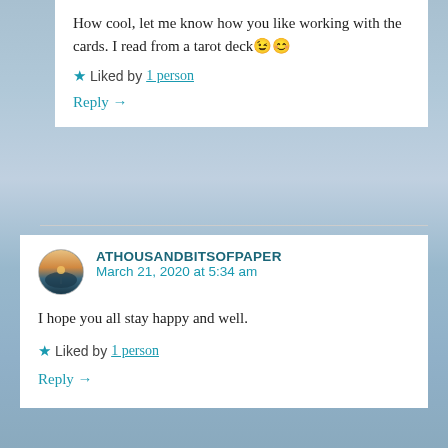How cool, let me know how you like working with the cards. I read from a tarot deck 😉😊
★ Liked by 1 person
Reply →
ATHOUSANDBITSOFPAPER
March 21, 2020 at 5:34 am
I hope you all stay happy and well.
★ Liked by 1 person
Reply →